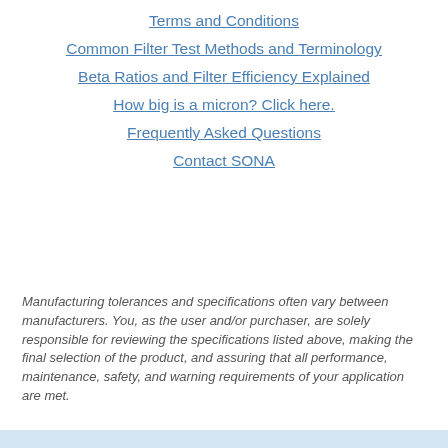Terms and Conditions
Common Filter Test Methods and Terminology
Beta Ratios and Filter Efficiency Explained
How big is a micron? Click here.
Frequently Asked Questions
Contact SONA
Manufacturing tolerances and specifications often vary between manufacturers. You, as the user and/or purchaser, are solely responsible for reviewing the specifications listed above, making the final selection of the product, and assuring that all performance, maintenance, safety, and warning requirements of your application are met.